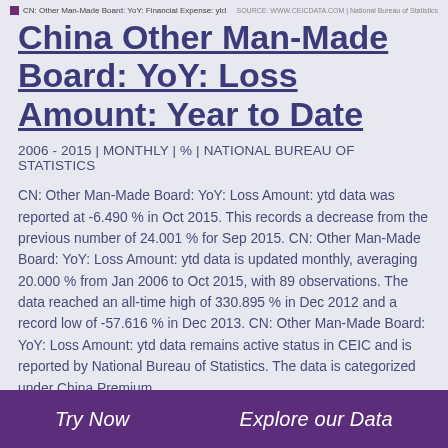CN: Other Man-Made Board: YoY: Financial Expense: ytd | SOURCE: WWW.CEICDATA.COM | National Bureau of Statistics
China Other Man-Made Board: YoY: Loss Amount: Year to Date
2006 - 2015 | MONTHLY | % | NATIONAL BUREAU OF STATISTICS
CN: Other Man-Made Board: YoY: Loss Amount: ytd data was reported at -6.490 % in Oct 2015. This records a decrease from the previous number of 24.001 % for Sep 2015. CN: Other Man-Made Board: YoY: Loss Amount: ytd data is updated monthly, averaging 20.000 % from Jan 2006 to Oct 2015, with 89 observations. The data reached an all-time high of 330.895 % in Dec 2012 and a record low of -57.616 % in Dec 2013. CN: Other Man-Made Board: YoY: Loss Amount: ytd data remains active status in CEIC and is reported by National Bureau of Statistics. The data is categorized under China Premium.
Try Now | Explore our Data